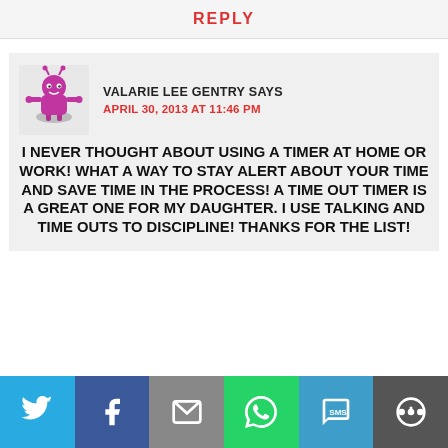REPLY
[Figure (illustration): Avatar image of a cartoon robot/alien character in pink/magenta color]
VALARIE LEE GENTRY SAYS
APRIL 30, 2013 AT 11:46 PM
I NEVER THOUGHT ABOUT USING A TIMER AT HOME OR WORK! WHAT A WAY TO STAY ALERT ABOUT YOUR TIME AND SAVE TIME IN THE PROCESS! A TIME OUT TIMER IS A GREAT ONE FOR MY DAUGHTER. I USE TALKING AND TIME OUTS TO DISCIPLINE! THANKS FOR THE LIST!
[Figure (infographic): Share bar with social media buttons: Twitter, Facebook, Email, WhatsApp, SMS, More]